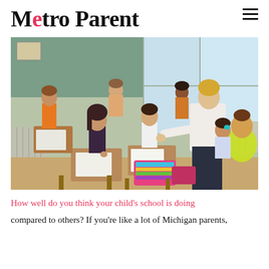Metro Parent
[Figure (photo): Classroom scene with several elementary-age children sitting at wooden desks writing/working, and a female teacher with blonde hair leaning over to assist a student. Bright windows in the background with green chalkboard walls.]
How well do you think your child's school is doing compared to others? If you're like a lot of Michigan parents,